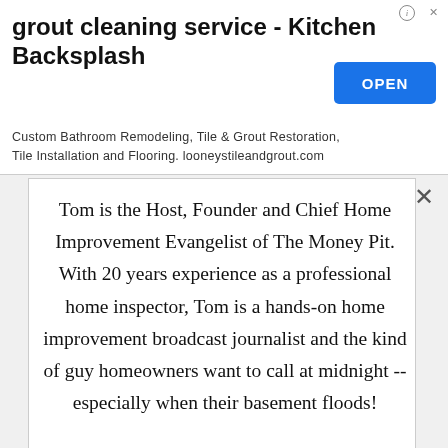[Figure (other): Advertisement banner for grout cleaning service - Kitchen Backsplash with OPEN button]
grout cleaning service - Kitchen Backsplash
Custom Bathroom Remodeling, Tile & Grout Restoration, Tile Installation and Flooring. looneystileandgrout.com
Tom is the Host, Founder and Chief Home Improvement Evangelist of The Money Pit. With 20 years experience as a professional home inspector, Tom is a hands-on home improvement broadcast journalist and the kind of guy homeowners want to call at midnight -- especially when their basement floods!